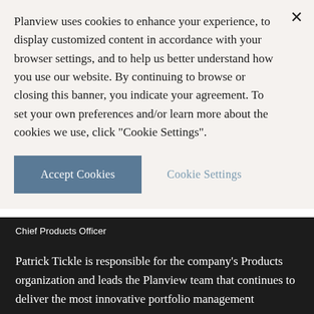Planview uses cookies to enhance your experience, to display customized content in accordance with your browser settings, and to help us better understand how you use our website. By continuing to browse or closing this banner, you indicate your agreement. To set your own preferences and/or learn more about the cookies we use, click "Cookie Settings".
Accept Cookies
Cookie Settings
Chief Products Officer
Patrick Tickle is responsible for the company's Products organization and leads the Planview team that continues to deliver the most innovative portfolio management solutions to the marketplace. Patrick brings over 20 years of experience in product management, product development, and marketing across a wide range of technology solutions. Prior to